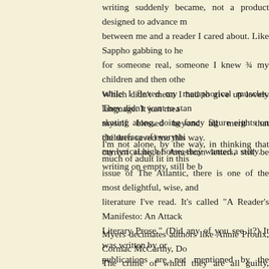writing suddenly became, not a product designed to advance m between me and a reader I cared about. Like Sappho gabbing to he for someone real, someone I knew ¾ my children and then othe while I flexed my metaphorical muscles. They didn't want to stan skating along, doing fancy figure eights on the surface of everythi my lyrical high horse; they wanted a story.
Which didn't mean I had to give up lovely language. It just mea myself blessed beyond all merit that children saved me this way. current state of American letters, still be writing on empty, still be b
I'm not alone, by the way, in thinking that much of adult lit in this issue of The Atlantic, there is one of the most delightful, wise, and literature I've read. It's called "A Reader's Manifesto: An Attack Literary Prose." (Did any of you see it?) It was written by or publications are not mentioned by the magazine, but who is clearly In essence, this manifesto suggests that language-driven writing called it in her talk yesterday) has taken over adult lit in this coun emperor's courtiers who praise his invisible new clothes, are ash more story and fewer linguistic pyrotechnics.
Myers decimates authors like Annie Proulx, Cormac McCarthy, Do The crime of which they are all guilty, according to this manifest stories speak for themselves. The voice we hear, Myers claims, author's. And it is a self-conscious, self-aggrandizing voice that boo Serious Writer would express himself so sonorously. Now read on,
As children's writers, we are fortunate that our readers (and therefo this sort of ego dance. And so, thanks to children, do I. Now that